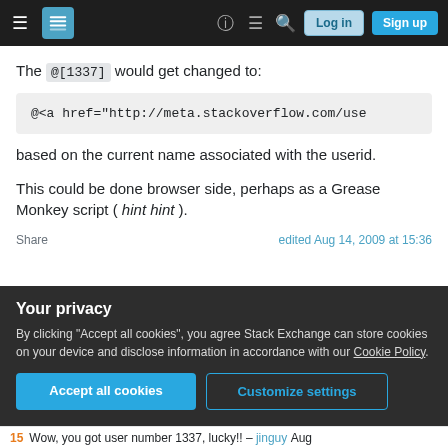Stack Exchange navigation bar with hamburger menu, logo, question mark icon, comments icon, search icon, Log in and Sign up buttons
The @[1337] would get changed to:
@<a href="http://meta.stackoverflow.com/use
based on the current name associated with the userid.
This could be done browser side, perhaps as a Grease Monkey script ( hint hint ).
Share   edited Aug 14, 2009 at 15:36
Your privacy
By clicking "Accept all cookies", you agree Stack Exchange can store cookies on your device and disclose information in accordance with our Cookie Policy.
Accept all cookies   Customize settings
15   Wow, you got user number 1337, lucky!! – jinguy Aug